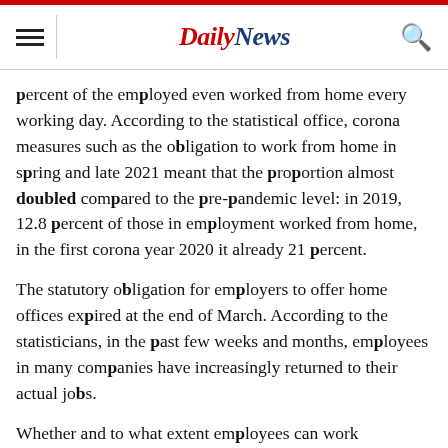Daily News
percent of the employed even worked from home every working day. According to the statistical office, corona measures such as the obligation to work from home in spring and late 2021 meant that the proportion almost doubled compared to the pre-pandemic level: in 2019, 12.8 percent of those in employment worked from home, in the first corona year 2020 it already 21 percent.
The statutory obligation for employers to offer home offices expired at the end of March. According to the statisticians, in the past few weeks and months, employees in many companies have increasingly returned to their actual jobs.
Whether and to what extent employees can work